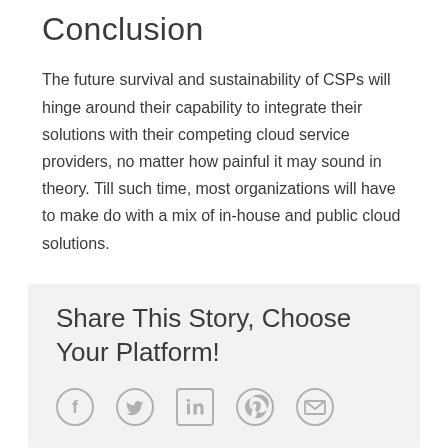Conclusion
The future survival and sustainability of CSPs will hinge around their capability to integrate their solutions with their competing cloud service providers, no matter how painful it may sound in theory. Till such time, most organizations will have to make do with a mix of in-house and public cloud solutions.
Share This Story, Choose Your Platform!
[Figure (infographic): Row of five social media share icons: Facebook, Twitter, LinkedIn, Pinterest, Email — all rendered in light grey]